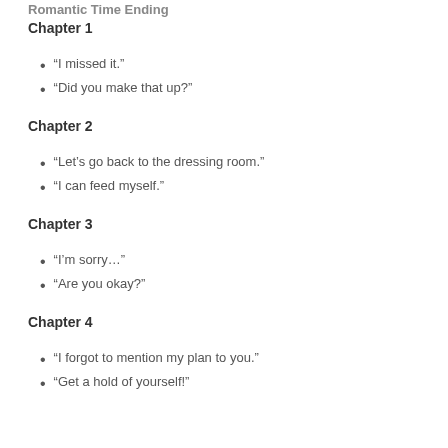Romantic Time Ending
Chapter 1
“I missed it.”
“Did you make that up?”
Chapter 2
“Let’s go back to the dressing room.”
“I can feed myself.”
Chapter 3
“I’m sorry…”
“Are you okay?”
Chapter 4
“I forgot to mention my plan to you.”
“Get a hold of yourself!”